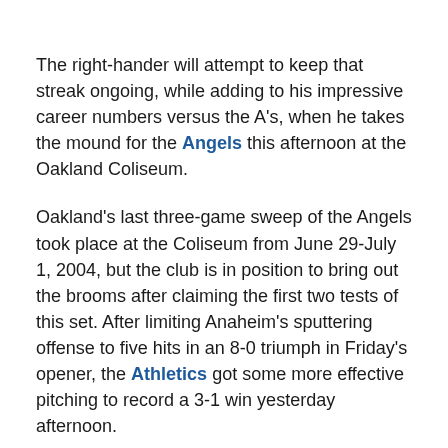The right-hander will attempt to keep that streak ongoing, while adding to his impressive career numbers versus the A's, when he takes the mound for the Angels this afternoon at the Oakland Coliseum.
Oakland's last three-game sweep of the Angels took place at the Coliseum from June 29-July 1, 2004, but the club is in position to bring out the brooms after claiming the first two tests of this set. After limiting Anaheim's sputtering offense to five hits in an 8-0 triumph in Friday's opener, the Athletics got some more effective pitching to record a 3-1 win yesterday afternoon.
Trevor Cahill (15-6) kept the Angels off the scoreboard over the second, first innings in a stretch of his 15th...